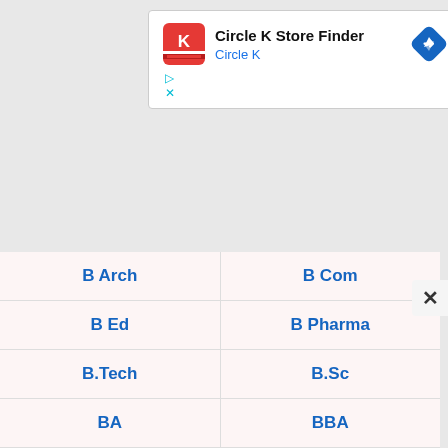[Figure (screenshot): Advertisement banner for Circle K Store Finder app with logo, title, subtitle 'Circle K', and navigation icon]
| B Arch | B Com |
| B Ed | B Pharma |
| B.Tech | B.Sc |
| BA | BBA |
| BCA | BDS |
| BVSc | CA Jobs |
| ITI Govt Jobs | Diploma |
| Graduate | ICWA |